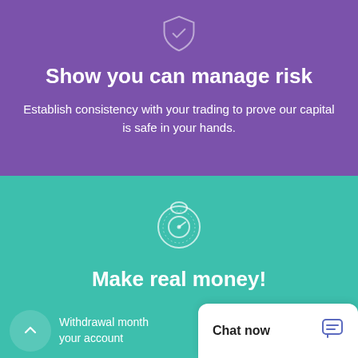[Figure (illustration): Shield icon outline in light purple/white on purple background]
Show you can manage risk
Establish consistency with your trading to prove our capital is safe in your hands.
[Figure (illustration): Vault/safe combination lock icon outline in white on teal background]
Make real money!
Withdrawal month... your account
Chat now